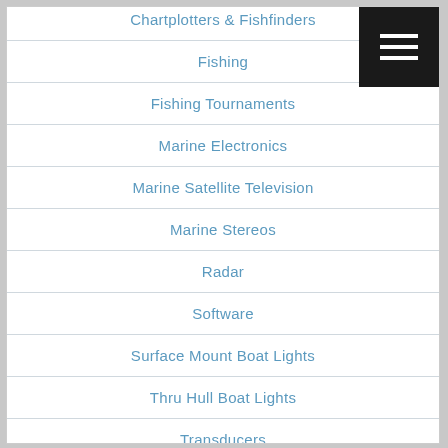Chartplotters & Fishfinders
Fishing
Fishing Tournaments
Marine Electronics
Marine Satellite Television
Marine Stereos
Radar
Software
Surface Mount Boat Lights
Thru Hull Boat Lights
Transducers